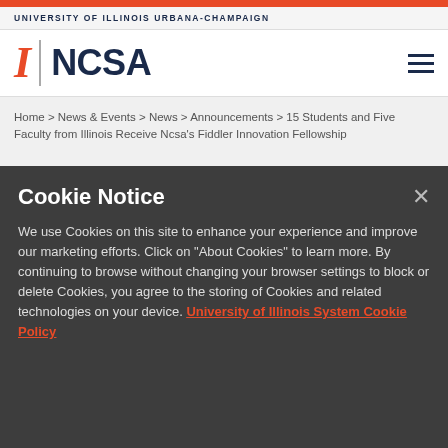UNIVERSITY OF ILLINOIS URBANA-CHAMPAIGN
[Figure (logo): University of Illinois I mark logo and NCSA wordmark with hamburger menu icon]
Home > News & Events > News > Announcements > 15 Students and Five Faculty from Illinois Receive Ncsa's Fiddler Innovation Fellowship
Cookie Notice
We use Cookies on this site to enhance your experience and improve our marketing efforts. Click on "About Cookies" to learn more. By continuing to browse without changing your browser settings to block or delete Cookies, you agree to the storing of Cookies and related technologies on your device. University of Illinois System Cookie Policy